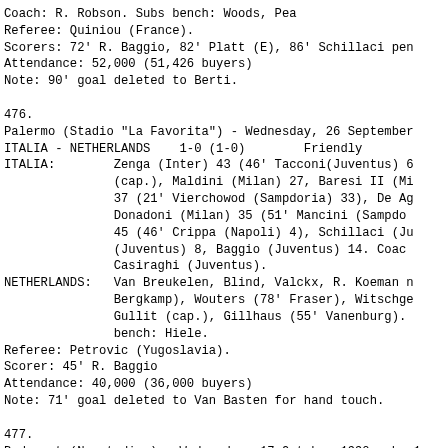Coach: R. Robson. Subs bench: Woods, Pea
Referee: Quiniou (France).
Scorers: 72' R. Baggio, 82' Platt (E), 86' Schillaci pen
Attendance: 52,000 (51,426 buyers)
Note: 90' goal deleted to Berti.
476.
Palermo (Stadio "La Favorita") - Wednesday, 26 September
ITALIA - NETHERLANDS    1-0 (1-0)        Friendly
ITALIA:        Zenga (Inter) 43 (46' Tacconi(Juventus) 6
               (cap.), Maldini (Milan) 27, Baresi II (Mi
               37 (21' Vierchowod (Sampdoria) 33), De Ag
               Donadoni (Milan) 35 (51' Mancini (Sampdo
               45 (46' Crippa (Napoli) 4), Schillaci (Ju
               (Juventus) 8, Baggio (Juventus) 14. Coac
               Casiraghi (Juventus).
NETHERLANDS:   Van Breukelen, Blind, Valckx, R. Koeman n
               Bergkamp), Wouters (78' Fraser), Witschge
               Gullit (cap.), Gillhaus (55' Vanenburg).
               bench: Hiele.
Referee: Petrovic (Yugoslavia).
Scorer: 45' R. Baggio
Attendance: 40,000 (36,000 buyers)
Note: 71' goal deleted to Van Basten for hand touch.
477.
Budapest (Nepstadion) - Wednesday, 17 October 1990 - h. 1
HUNGARY - ITALIA              1-1 (1-0)        VII Euro
HUNGARY:       Petry, Monos, Szalma, Disztl, Limperger,
               Kiprich, Kozma (86' Urbanyi), Bognar, Lo
               Mercsler, Grhocska, Dombkossy, A.